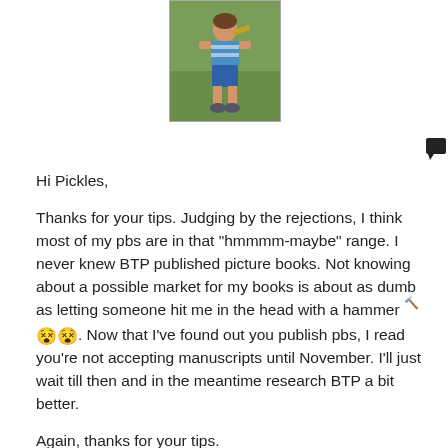[Figure (photo): A photograph of a child standing outdoors on grass, wearing a blue and white shirt and blue shorts, with sneakers, appearing to hold something.]
Hi Pickles,

Thanks for your tips. Judging by the rejections, I think most of my pbs are in that "hmmmm-maybe" range. I never knew BTP published picture books. Not knowing about a possible market for my books is about as dumb as letting someone hit me in the head with a hammer [emoji]. Now that I've found out you publish pbs, I read you're not accepting manuscripts until November. I'll just wait till then and in the meantime research BTP a bit better.

Again, thanks for your tips.

Brian H.